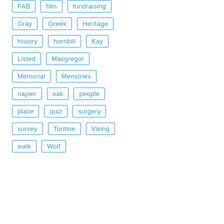FAB
film
fundraising
Gray
Greek
Heritage
history
hornbill
Kay
Listed
Macgregor
Memorial
Memories
napier
oak
people
place
quiz
surgery
survey
Tontine
Viking
walk
Wolf